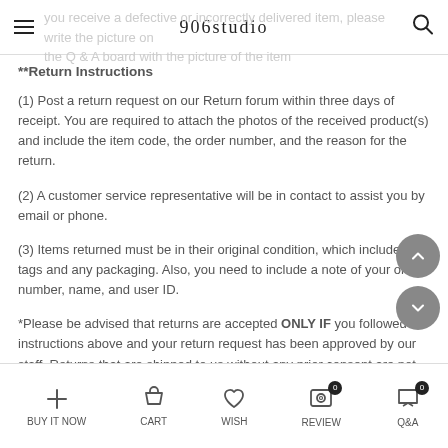906studio
you receive a defective or incorrectly delivered item, please write the picture on the Q & A board with the picture of the item
**Return Instructions
(1) Post a return request on our Return forum within three days of receipt. You are required to attach the photos of the received product(s) and include the item code, the order number, and the reason for the return.
(2) A customer service representative will be in contact to assist you by email or phone.
(3) Items returned must be in their original condition, which includes tags and any packaging. Also, you need to include a note of your order number, name, and user ID.
*Please be advised that returns are accepted ONLY IF you followed the instructions above and your return request has been approved by our staff. Returns that are shipped to us without any prior consent are not accepted.
*Please note that EVEN the defective/incorrect item(s) must be returned with all of the tags and labels intact. The item(s) must be sent in their original packaging and unworn.
BUY IT NOW   CART   WISH   REVIEW 0   Q&A 0